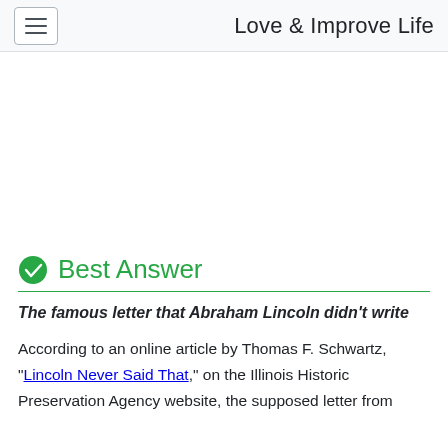Love & Improve Life
[Figure (other): Advertisement / blank white area]
Best Answer
The famous letter that Abraham Lincoln didn't write
According to an online article by Thomas F. Schwartz, "Lincoln Never Said That," on the Illinois Historic Preservation Agency website, the supposed letter from